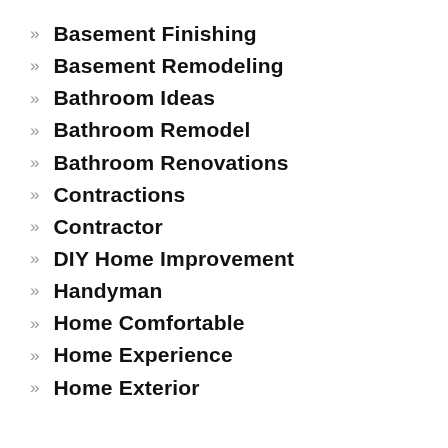Basement Finishing
Basement Remodeling
Bathroom Ideas
Bathroom Remodel
Bathroom Renovations
Contractions
Contractor
DIY Home Improvement
Handyman
Home Comfortable
Home Experience
Home Exterior